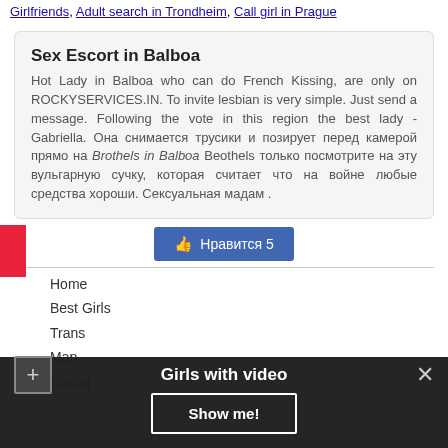Girlfriends, Adult search in Trondheim, Call girl in Prague
Sex Escort in Balboa
Hot Lady in Balboa who can do French Kissing, are only on ROCKYSERVICES.IN. To invite lesbian is very simple. Just send a message. Following the vote in this region the best lady - Gabriella. Она снимается трусики и позирует перед камерой прямо на Brothels in Balboa Beothels только посмотрите на эту вульгарную сучку, которая считает что на войне любые средства хороши. Сексуальная мадам .
[Figure (other): Facebook-style like button with thumbs up icon showing 'Нравится 5']
Home
Best Girls
Trans
Map
Dating
Girls with video — Show me! (overlay popup)